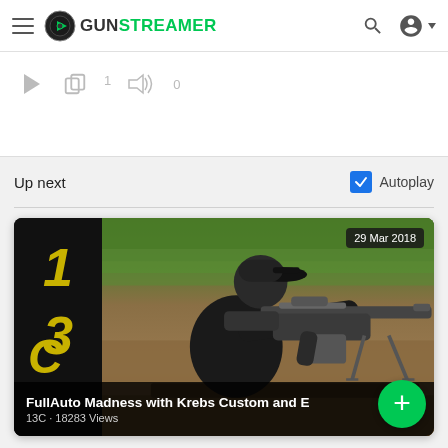GUNSTREAMER
[Figure (screenshot): Partial video player showing like/share/volume icons, partially scrolled off screen]
Up next
Autoplay
[Figure (photo): Video thumbnail showing a man in black cap and shirt shooting a large automatic rifle with bipod at an outdoor shooting range. Date badge shows 29 Mar 2018. Countdown numbers 1, 3, C visible on black left panel.]
FullAuto Madness with Krebs Custom and E
13C · 18283 Views